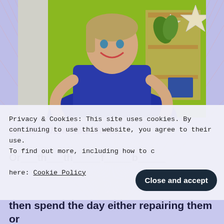[Figure (photo): A smiling woman in a blue v-neck shirt standing in front of a green wall with wooden star decorations on shelving, pointing both index fingers downward]
Let Me Show You How....
then spend the day either repairing them or
Privacy & Cookies: This site uses cookies. By continuing to use this website, you agree to their use. To find out more, including how to control cookies, see here: Cookie Policy
Close and accept